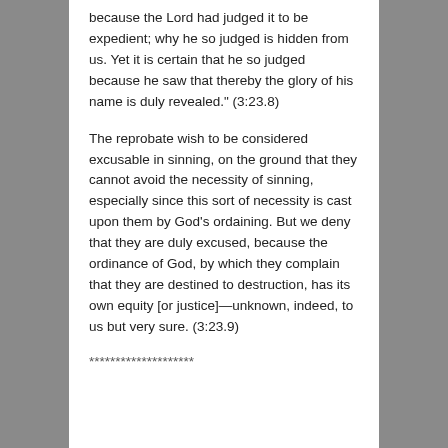because the Lord had judged it to be expedient; why he so judged is hidden from us. Yet it is certain that he so judged because he saw that thereby the glory of his name is duly revealed." (3:23.8)
The reprobate wish to be considered excusable in sinning, on the ground that they cannot avoid the necessity of sinning, especially since this sort of necessity is cast upon them by God's ordaining. But we deny that they are duly excused, because the ordinance of God, by which they complain that they are destined to destruction, has its own equity [or justice]—unknown, indeed, to us but very sure. (3:23.9)
********************